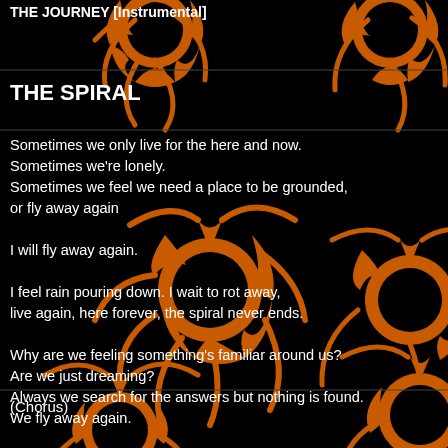THE JOURNEY [Instrumental]
THE SPIRAL
Sometimes we only live for the here and now.
Sometimes we're lonely.
Sometimes we feel we need a place to be grounded,
or fly away again

I will fly away again.

I feel rain pouring down. I wait to rot away,
live again, here forever, the spiral never ends.

Why are we feeling something's familiar around us?
Are we just dreaming?
Always we search for the answers but nothing is found.
We fly away again.

I will fly away again.
(Chorus)